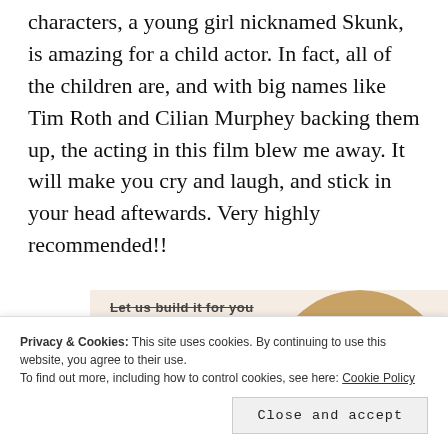characters, a young girl nicknamed Skunk, is amazing for a child actor. In fact, all of the children are, and with big names like Tim Roth and Cilian Murphey backing them up, the acting in this film blew me away. It will make you cry and laugh, and stick in your head aftewards. Very highly recommended!!
[Figure (screenshot): Advertisement banner with beige/cream background showing text 'Let us build it for you', a 'Let's get started' button, and a circular cropped photo of a person working on a laptop.]
Privacy & Cookies: This site uses cookies. By continuing to use this website, you agree to their use.
To find out more, including how to control cookies, see here: Cookie Policy
Close and accept